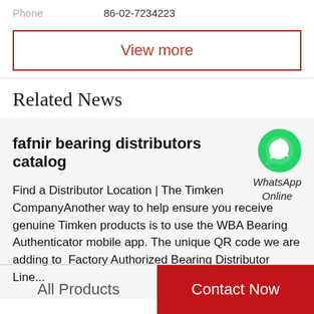Phone    86-02-7234223
View more
Related News
fafnir bearing distributors catalog
Find a Distributor Location | The Timken CompanyAnother way to help ensure you receive genuine Timken products is to use the WBA Bearing Authenticator mobile app. The unique QR code we are adding to  Factory Authorized Bearing Distributor Line...
All Products
Contact Now